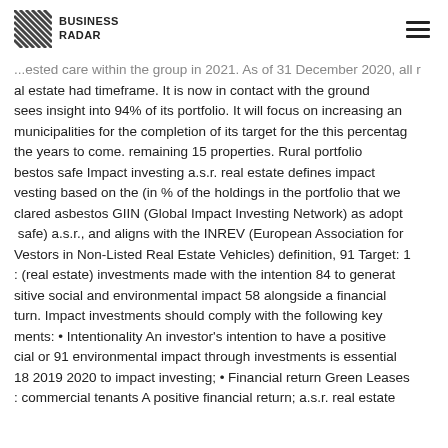BUSINESS RADAR
...ested care within the group in 2021. As of 31 December 2020, all real estate had timeframe. It is now in contact with the ground sees insight into 94% of its portfolio. It will focus on increasing an municipalities for the completion of its target for the this percentage the years to come. remaining 15 properties. Rural portfolio bestos safe Impact investing a.s.r. real estate defines impact vesting based on the (in % of the holdings in the portfolio that we clared asbestos GIIN (Global Impact Investing Network) as adopt safe) a.s.r., and aligns with the INREV (European Association for Vestors in Non-Listed Real Estate Vehicles) definition, 91 Target: 1 : (real estate) investments made with the intention 84 to generate sitive social and environmental impact 58 alongside a financial turn. Impact investments should comply with the following key ments: • Intentionality An investor's intention to have a positive cial or 91 environmental impact through investments is essential 18 2019 2020 to impact investing; • Financial return Green Leases commercial tenants A positive financial return; a.s.r. real estate